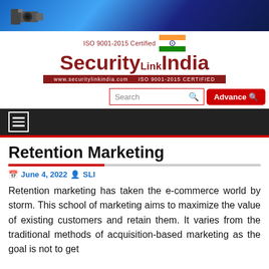[Figure (screenshot): Website header banner with blue gradient background and security camera image on the left]
[Figure (logo): SecurityLinkIndia logo with ISO 9001-2015 Certified text and Indian flag, red dark maroon branding. URL bar shows www.securitylinkindia.com ISO 9001-2015 CERTIFIED]
[Figure (screenshot): Search bar with red border and Advance search button in red, plus hamburger menu on dark nav bar]
Retention Marketing
June 4, 2022  SLI
Retention marketing has taken the e-commerce world by storm. This school of marketing aims to maximize the value of existing customers and retain them. It varies from the traditional methods of acquisition-based marketing as the goal is not to get